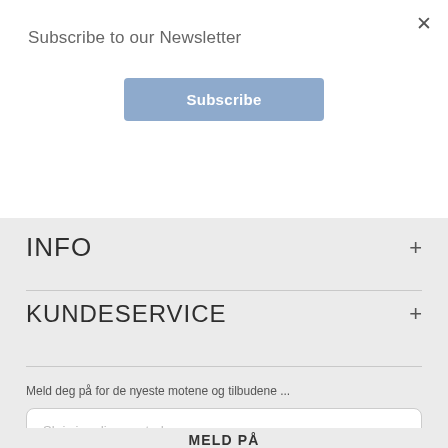Subscribe to our Newsletter
Subscribe
INFO
KUNDESERVICE
NYHETER OG TIPS
Meld deg på for de nyeste motene og tilbudene ...
Skriv inn din epostadresse...
MELD PÅ